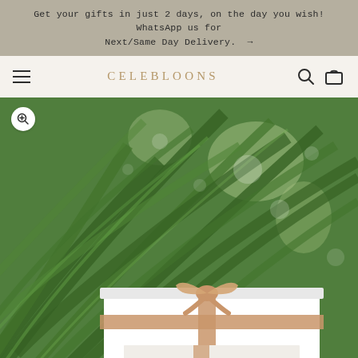Get your gifts in just 2 days, on the day you wish! WhatsApp us for Next/Same Day Delivery.  →
CELEBLOONS
[Figure (photo): A white gift box wrapped with a gold/rose-gold ribbon with a bow, positioned in the lower portion of the image against a lush green tropical palm leaf background, photographed outdoors.]